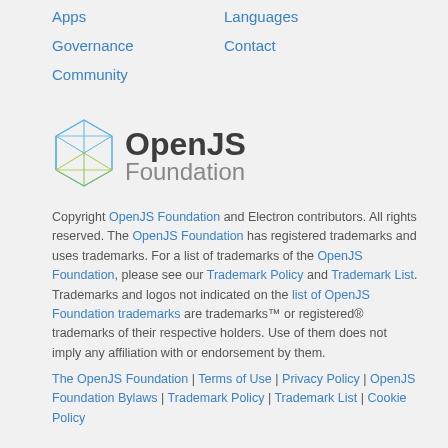Apps
Languages
Governance
Contact
Community
[Figure (logo): OpenJS Foundation logo — geometric wireframe icosahedron in blue and yellow-green, with 'OpenJS Foundation' text]
Copyright OpenJS Foundation and Electron contributors. All rights reserved. The OpenJS Foundation has registered trademarks and uses trademarks. For a list of trademarks of the OpenJS Foundation, please see our Trademark Policy and Trademark List. Trademarks and logos not indicated on the list of OpenJS Foundation trademarks are trademarks™ or registered® trademarks of their respective holders. Use of them does not imply any affiliation with or endorsement by them.
The OpenJS Foundation | Terms of Use | Privacy Policy | OpenJS Foundation Bylaws | Trademark Policy | Trademark List | Cookie Policy